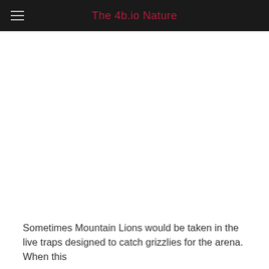The 4b.io Nature
Sometimes Mountain Lions would be taken in the live traps designed to catch grizzlies for the arena. When this